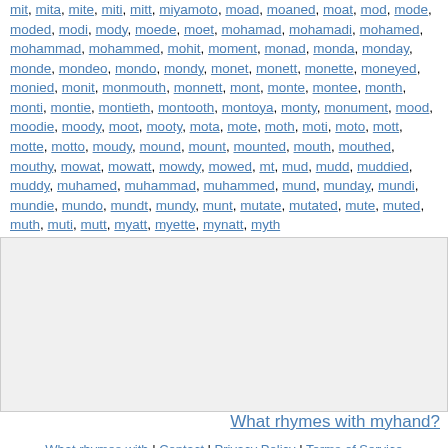mit, mita, mite, miti, mitt, miyamoto, moad, moaned, moat, mod, mode, moded, modi, mody, moede, moet, mohamad, mohamadi, mohamed, mohammad, mohammed, mohit, moment, monad, monda, monday, monde, mondeo, mondo, mondy, monet, monett, monette, moneyed, monied, monit, monmouth, monnett, mont, monte, montee, month, monti, montie, montieth, montooth, montoya, monty, monument, mood, moodie, moody, moot, mooty, mota, mote, moth, moti, moto, mott, motte, motto, moudy, mound, mount, mounted, mouth, mouthed, mouthy, mowat, mowatt, mowdy, mowed, mt, mud, mudd, muddied, muddy, muhamed, muhammad, muhammed, mund, munday, mundi, mundie, mundo, mundt, mundy, munt, mutate, mutated, mute, muted, muth, muti, mutt, myatt, myette, mynatt, myth
[Figure (other): Advertisement/empty gray box]
What rhymes with myhand?
What rhymes with | Contact | Privacy Policy | Terms of Service
Copyright © 2009 - 2022 www.whatrhymeswith.info. All rights reserved.